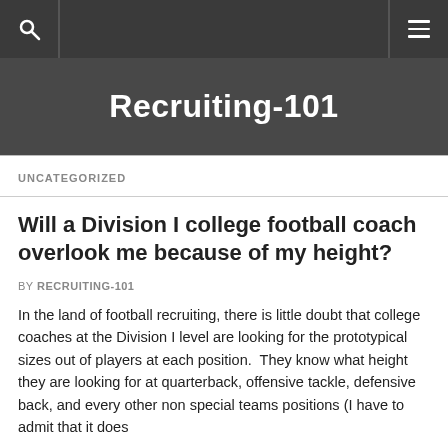Recruiting-101
UNCATEGORIZED
Will a Division I college football coach overlook me because of my height?
BY RECRUITING-101
In the land of football recruiting, there is little doubt that college coaches at the Division I level are looking for the prototypical sizes out of players at each position. They know what height they are looking for at quarterback, offensive tackle, defensive back, and every other non special teams positions (I have to admit that it does